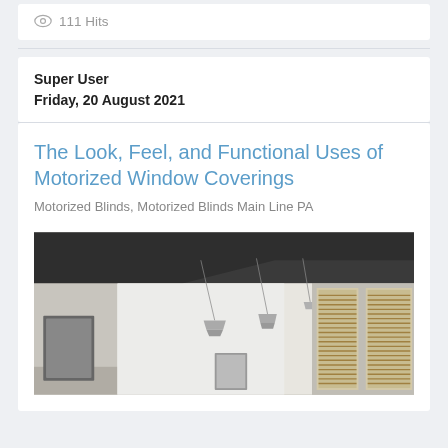111 Hits
Super User
Friday, 20 August 2021
The Look, Feel, and Functional Uses of Motorized Window Coverings
Motorized Blinds, Motorized Blinds Main Line PA
[Figure (photo): Interior room scene showing a modern room with dark ceiling, pendant lights hanging from above, and windows with horizontal wooden blinds on the right side. White walls visible.]